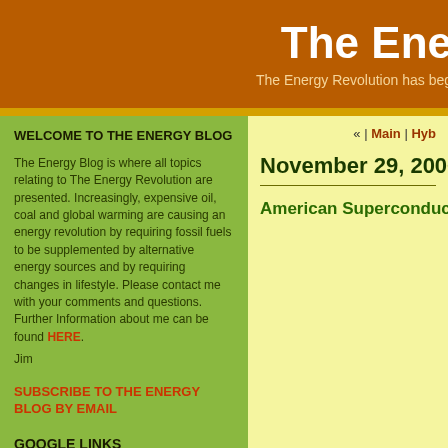The Ene
The Energy Revolution has beg
WELCOME TO THE ENERGY BLOG
The Energy Blog is where all topics relating to The Energy Revolution are presented. Increasingly, expensive oil, coal and global warming are causing an energy revolution by requiring fossil fuels to be supplemented by alternative energy sources and by requiring changes in lifestyle. Please contact me with your comments and questions. Further Information about me can be found HERE.
Jim
SUBSCRIBE TO THE ENERGY BLOG BY EMAIL
GOOGLE LINKS
« | Main | Hyb
November 29, 2006
American Superconductor w